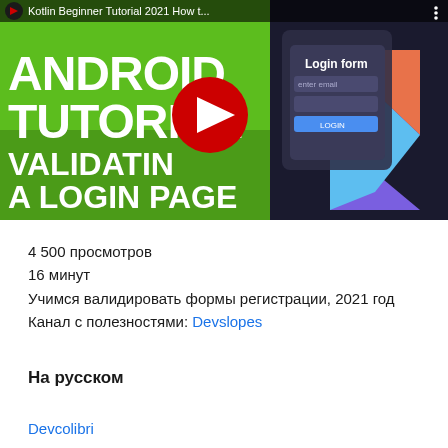[Figure (screenshot): YouTube video thumbnail for 'Kotlin Beginner Tutorial 2021 How t...' — Android Tutorial: Validating a Login Page. Green background on left with white bold text 'ANDROID TUTORIAL VALIDATING A LOGIN PAGE', red YouTube play button in center, Kotlin logo and a phone UI showing 'Login form' on the right. Top bar shows video title and three-dot menu.]
4 500 просмотров
16 минут
Учимся валидировать формы регистрации, 2021 год
Канал с полезностями: Devslopes
На русском
Devcolibri